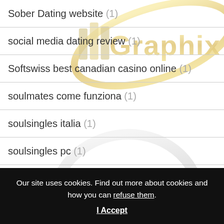Sober Dating website (1)
social media dating review (1)
Softswiss best canadian casino online (1)
soulmates come funziona (1)
soulsingles italia (1)
soulsingles pc (1)
SoulSingles visitors (1)
[Figure (logo): iiiGraphix watermark logo appearing twice — gold and silver versions of the text 'iiiGraphix' with orbiting ring and pen nib graphic]
Our site uses cookies. Find out more about cookies and how you can refuse them.
I Accept